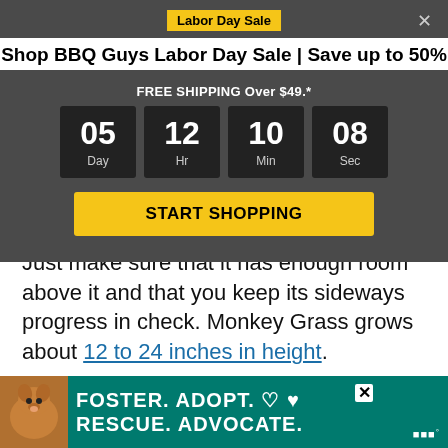Labor Day Sale
Shop BBQ Guys Labor Day Sale | Save up to 50%
FREE SHIPPING Over $49.*
[Figure (other): Countdown timer showing 05 Days, 12 Hours, 10 Minutes, 08 Seconds]
START SHOPPING
Just make sure that it has enough room above it and that you keep its sideways progress in check. Monkey Grass grows about 12 to 24 inches in height.
Dig up the Roots
The roots of a Monkey Plant are shallow
[Figure (other): Foster. Adopt. Rescue. Advocate. advertisement banner with dog image]